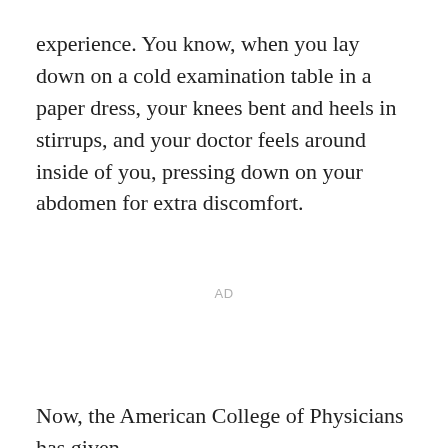experience. You know, when you lay down on a cold examination table in a paper dress, your knees bent and heels in stirrups, and your doctor feels around inside of you, pressing down on your abdomen for extra discomfort.
AD
Now, the American College of Physicians has given